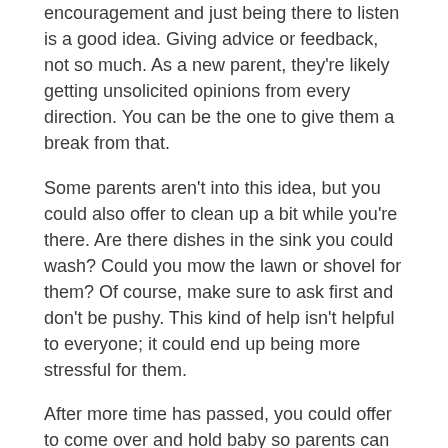encouragement and just being there to listen is a good idea. Giving advice or feedback, not so much. As a new parent, they're likely getting unsolicited opinions from every direction. You can be the one to give them a break from that.
Some parents aren't into this idea, but you could also offer to clean up a bit while you're there. Are there dishes in the sink you could wash? Could you mow the lawn or shovel for them? Of course, make sure to ask first and don't be pushy. This kind of help isn't helpful to everyone; it could end up being more stressful for them.
After more time has passed, you could offer to come over and hold baby so parents can get some free time. This could give parents time to take a nap, go for a run, catch up on laundry, clean, spend time together, anything. Just being available for parents helps. Some may not know how to ask for help so offering to come over and hold baby every so often can mean a lot.